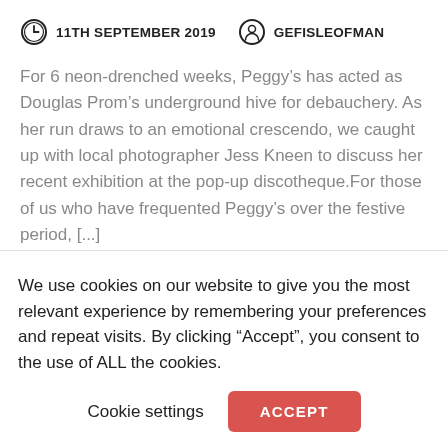11TH SEPTEMBER 2019   GEFISLEOFMAN
For 6 neon-drenched weeks, Peggy’s has acted as Douglas Prom’s underground hive for debauchery. As her run draws to an emotional crescendo, we caught up with local photographer Jess Kneen to discuss her recent exhibition at the pop-up discotheque.For those of us who have frequented Peggy’s over the festive period, [...]
We use cookies on our website to give you the most relevant experience by remembering your preferences and repeat visits. By clicking “Accept”, you consent to the use of ALL the cookies.